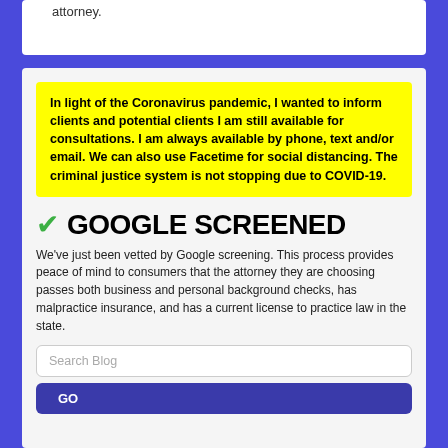attorney.
In light of the Coronavirus pandemic, I wanted to inform clients and potential clients I am still available for consultations. I am always available by phone, text and/or email. We can also use Facetime for social distancing. The criminal justice system is not stopping due to COVID-19.
✓ GOOGLE SCREENED
We've just been vetted by Google screening. This process provides peace of mind to consumers that the attorney they are choosing passes both business and personal background checks, has malpractice insurance, and has a current license to practice law in the state.
Search Blog
GO